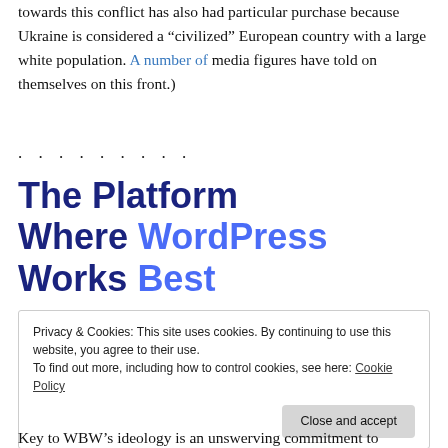towards this conflict has also had particular purchase because Ukraine is considered a “civilized” European country with a large white population. A number of media figures have told on themselves on this front.)
· · · · · · · · ·
The Platform Where WordPress Works Best
Privacy & Cookies: This site uses cookies. By continuing to use this website, you agree to their use.
To find out more, including how to control cookies, see here: Cookie Policy
Close and accept
Key to WBW’s ideology is an unswerving commitment to